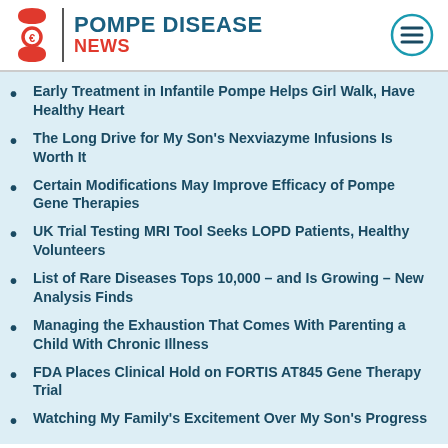POMPE DISEASE NEWS
Early Treatment in Infantile Pompe Helps Girl Walk, Have Healthy Heart
The Long Drive for My Son's Nexviazyme Infusions Is Worth It
Certain Modifications May Improve Efficacy of Pompe Gene Therapies
UK Trial Testing MRI Tool Seeks LOPD Patients, Healthy Volunteers
List of Rare Diseases Tops 10,000 – and Is Growing – New Analysis Finds
Managing the Exhaustion That Comes With Parenting a Child With Chronic Illness
FDA Places Clinical Hold on FORTIS AT845 Gene Therapy Trial
Watching My Family's Excitement Over My Son's Progress